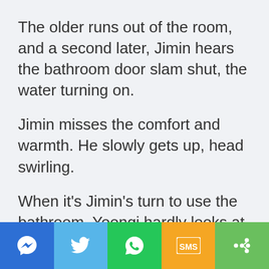The older runs out of the room, and a second later, Jimin hears the bathroom door slam shut, the water turning on.
Jimin misses the comfort and warmth. He slowly gets up, head swirling.
When it's Jimin's turn to use the bathroom, Yoongi hardly looks at him, flitting away to get dressed.
[Figure (infographic): Social sharing bar with five buttons: Messenger (dark blue), Twitter (light blue), WhatsApp (green), SMS (orange/yellow), More/share (green)]